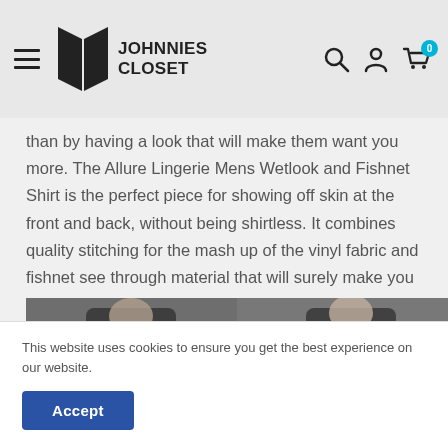Johnnies Closet — Navigation header with hamburger menu, logo, search, account, and cart icons
than by having a look that will make them want you more. The Allure Lingerie Mens Wetlook and Fishnet Shirt is the perfect piece for showing off skin at the front and back, without being shirtless. It combines quality stitching for the mash up of the vinyl fabric and fishnet see through material that will surely make you the highlight of the night.
[Figure (photo): Product photo showing a male model wearing a black wetlook and fishnet shirt, front and back views]
This website uses cookies to ensure you get the best experience on our website.
Accept